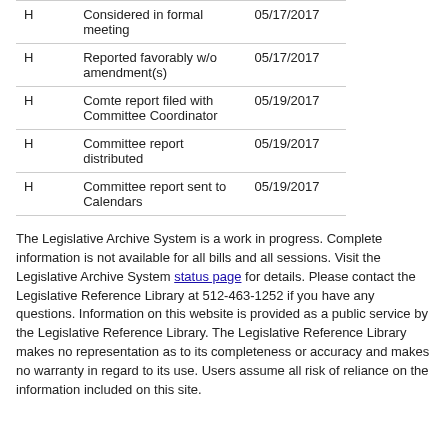| H | Considered in formal meeting | 05/17/2017 |
| H | Reported favorably w/o amendment(s) | 05/17/2017 |
| H | Comte report filed with Committee Coordinator | 05/19/2017 |
| H | Committee report distributed | 05/19/2017 |
| H | Committee report sent to Calendars | 05/19/2017 |
The Legislative Archive System is a work in progress. Complete information is not available for all bills and all sessions. Visit the Legislative Archive System status page for details. Please contact the Legislative Reference Library at 512-463-1252 if you have any questions. Information on this website is provided as a public service by the Legislative Reference Library. The Legislative Reference Library makes no representation as to its completeness or accuracy and makes no warranty in regard to its use. Users assume all risk of reliance on the information included on this site.